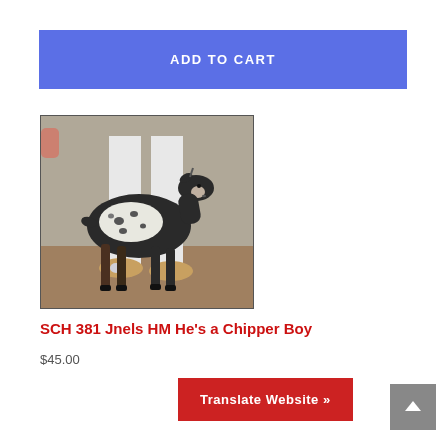ADD TO CART
[Figure (photo): A small black, white and brown spotted goat standing next to a person wearing white pants and tan shoes, photographed indoors against a concrete wall.]
SCH 381 Jnels HM He's a Chipper Boy
$45.00
Translate Website »